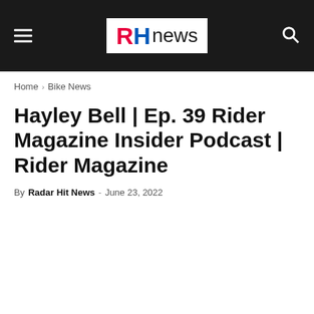RH news
Home › Bike News
Hayley Bell | Ep. 39 Rider Magazine Insider Podcast | Rider Magazine
By Radar Hit News - June 23, 2022